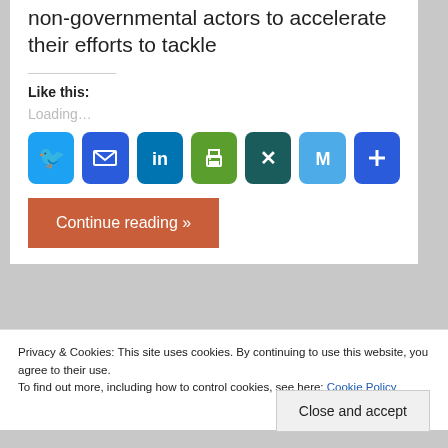non-governmental actors to accelerate their efforts to tackle
Like this:
Loading...
[Figure (infographic): Row of social sharing icon buttons: Twitter (blue bird), Email (blue envelope), LinkedIn (blue), Print (green printer), XING (dark teal X), Mastodon (blue M), Share (blue plus)]
Continue reading »
Privacy & Cookies: This site uses cookies. By continuing to use this website, you agree to their use.
To find out more, including how to control cookies, see here: Cookie Policy
Close and accept